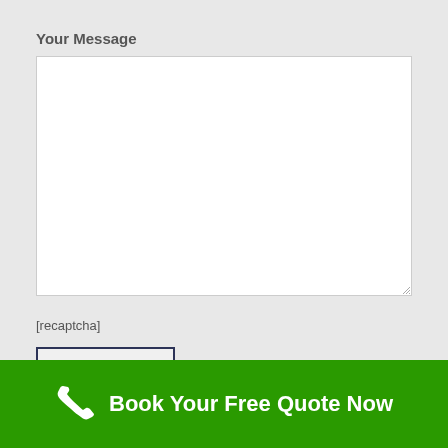Your Message
[Figure (screenshot): Empty white textarea input box for user message]
[recaptcha]
Send
Book Your Free Quote Now